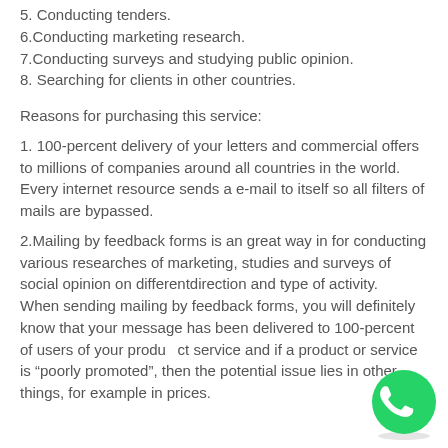5. Conducting tenders.
6.Conducting marketing research.
7.Conducting surveys and studying public opinion.
8. Searching for clients in other countries.
Reasons for purchasing this service:
1. 100-percent delivery of your letters and commercial offers to millions of companies around all countries in the world.
Every internet resource sends a e-mail to itself so all filters of mails are bypassed.
2.Mailing by feedback forms is an great way in for conducting various researches of marketing, studies and surveys of social opinion on differentdirection and type of activity.
When sending mailing by feedback forms, you will definitely know that your message has been delivered to 100-percent of users of your product or service and if a product or service is “poorly promoted”, then the potential issue lies in other things, for example in prices.
[Figure (logo): WhatsApp logo icon, green circle with white phone handset]